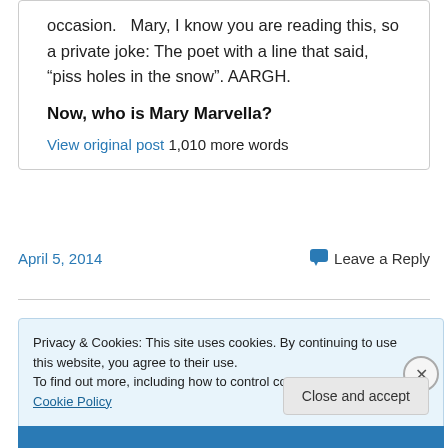occasion.  Mary, I know you are reading this, so a private joke: The poet with a line that said, “piss holes in the snow”. AARGH.
Now, who is Mary Marvella?
View original post 1,010 more words
April 5, 2014
Leave a Reply
Privacy & Cookies: This site uses cookies. By continuing to use this website, you agree to their use.
To find out more, including how to control cookies, see here: Cookie Policy
Close and accept